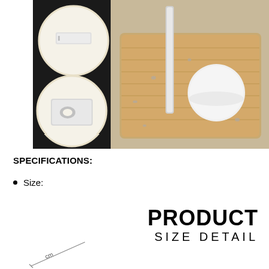[Figure (photo): Product photo showing a soap dish holder on a bamboo tray with water droplets, with two circular inset close-up details: one showing the top rail clip mechanism and one showing the hook/hole at the bottom of the holder. The background is split black and natural.]
SPECIFICATIONS:
Size:
PRODUCT SIZE DETAIL
[Figure (engineering-diagram): Partial size dimension diagram of the product showing measurement lines, partially cropped at the bottom of the page.]